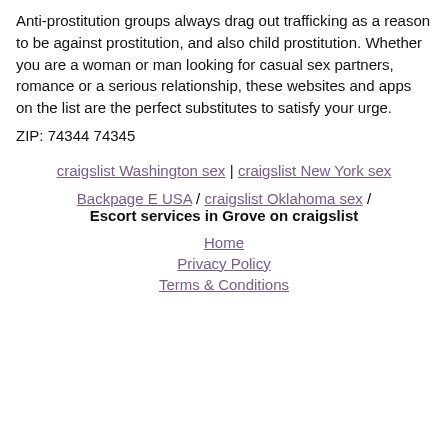Anti-prostitution groups always drag out trafficking as a reason to be against prostitution, and also child prostitution. Whether you are a woman or man looking for casual sex partners, romance or a serious relationship, these websites and apps on the list are the perfect substitutes to satisfy your urge.
ZIP: 74344 74345
craigslist Washington sex | craigslist New York sex
Backpage E USA / craigslist Oklahoma sex / Escort services in Grove on craigslist
Home
Privacy Policy
Terms & Conditions